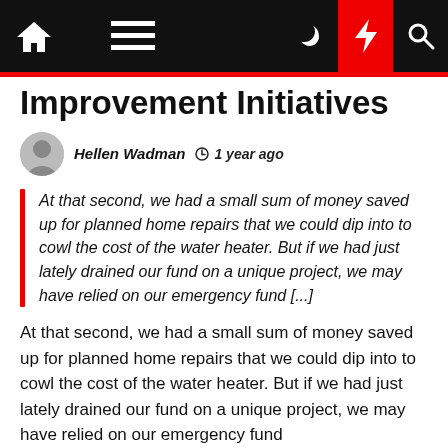Navigation bar with home, menu, moon, bolt, and search icons
Improvement Initiatives
Hellen Wadman  1 year ago
At that second, we had a small sum of money saved up for planned home repairs that we could dip into to cowl the cost of the water heater. But if we had just lately drained our fund on a unique project, we may have relied on our emergency fund [...]
At that second, we had a small sum of money saved up for planned home repairs that we could dip into to cowl the cost of the water heater. But if we had just lately drained our fund on a unique project, we may have relied on our emergency fund